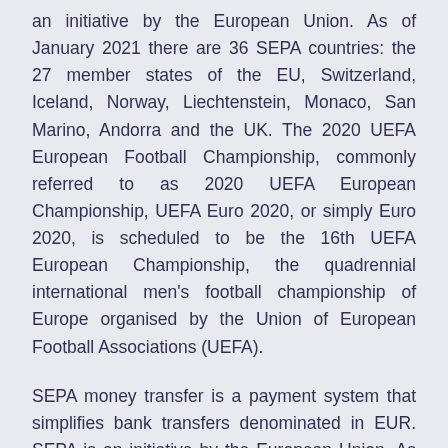an initiative by the European Union. As of January 2021 there are 36 SEPA countries: the 27 member states of the EU, Switzerland, Iceland, Norway, Liechtenstein, Monaco, San Marino, Andorra and the UK. The 2020 UEFA European Football Championship, commonly referred to as 2020 UEFA European Championship, UEFA Euro 2020, or simply Euro 2020, is scheduled to be the 16th UEFA European Championship, the quadrennial international men's football championship of Europe organised by the Union of European Football Associations (UEFA).
SEPA money transfer is a payment system that simplifies bank transfers denominated in EUR. SEPA is an initiative by the European Union. As of January 2021 there are 36 SEPA countries: the 27 member states of the EU, Switzerland, Iceland, Norway, Liechtenstein,